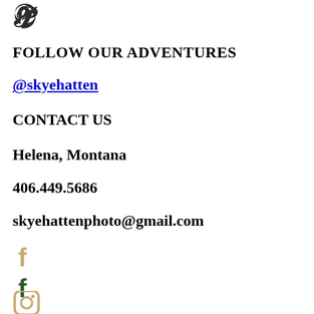[Figure (logo): Pinterest 'P' logo icon in dark gray/black at top left]
FOLLOW OUR ADVENTURES
@skyehatten
CONTACT US
Helena, Montana
406.449.5686
skyehattenphoto@gmail.com
[Figure (logo): Facebook 'f' logo icon in gold/tan color]
[Figure (logo): Facebook 'f' logo icon in dark green/black color]
[Figure (logo): Instagram camera logo icon in gold/tan color, partially visible at bottom]